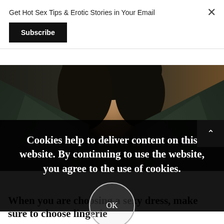Get Hot Sex Tips & Erotic Stories in Your Email
Subscribe
[Figure (photo): A person with dark hair wearing a dark open jacket, skin visible at the neck, photographed from the chest up in low light.]
Cookies help to deliver content on this website. By continuing to use the website, you agree to the use of cookies.
OK
When you are choosing a sexy dress, make sure to choose lingerie